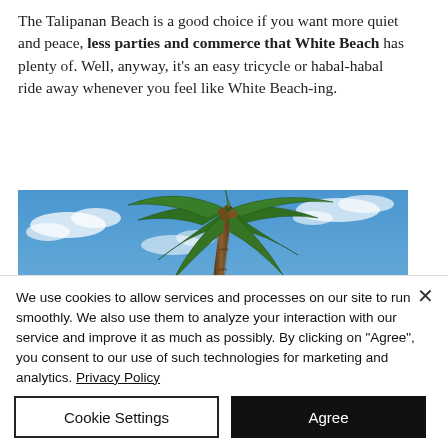The Talipanan Beach is a good choice if you want more quiet and peace, less parties and commerce that White Beach has plenty of. Well, anyway, it's an easy tricycle or habal-habal ride away whenever you feel like White Beach-ing.
[Figure (photo): Photo of a tall palm tree against a bright blue sky with scattered white clouds, viewed from below looking up.]
We use cookies to allow services and processes on our site to run smoothly. We also use them to analyze your interaction with our service and improve it as much as possibly. By clicking on "Agree", you consent to our use of such technologies for marketing and analytics. Privacy Policy